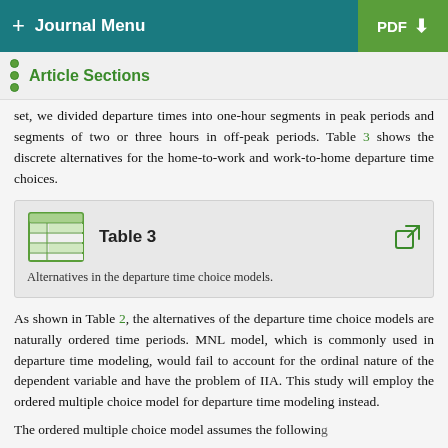+ Journal Menu | PDF
Article Sections
set, we divided departure times into one-hour segments in peak periods and segments of two or three hours in off-peak periods. Table 3 shows the discrete alternatives for the home-to-work and work-to-home departure time choices.
Table 3
Alternatives in the departure time choice models.
As shown in Table 2, the alternatives of the departure time choice models are naturally ordered time periods. MNL model, which is commonly used in departure time modeling, would fail to account for the ordinal nature of the dependent variable and have the problem of IIA. This study will employ the ordered multiple choice model for departure time modeling instead.
The ordered multiple choice model assumes the following